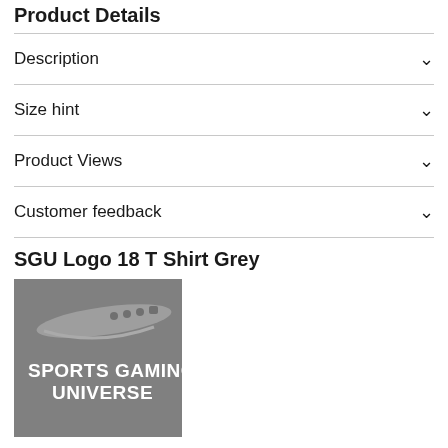Product Details
Description
Size hint
Product Views
Customer feedback
SGU Logo 18 T Shirt Grey
[Figure (logo): Sports Gaming Universe logo on grey background — a swoosh shape with sports/gaming icons, and bold white text reading SPORTS GAMING UNIVERSE]